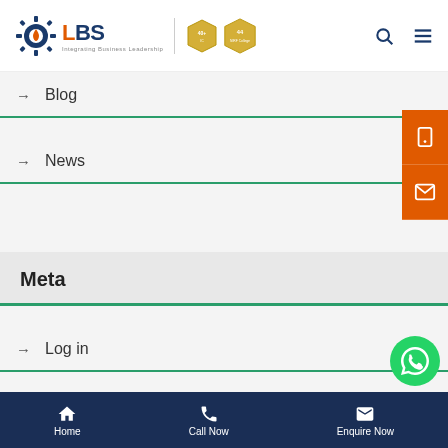[Figure (logo): LBS Institute logo with gear icon, ranking badges]
→ Blog
→ News
Meta
→ Log in
→ Entries feed
Home | Call Now | Enquire Now